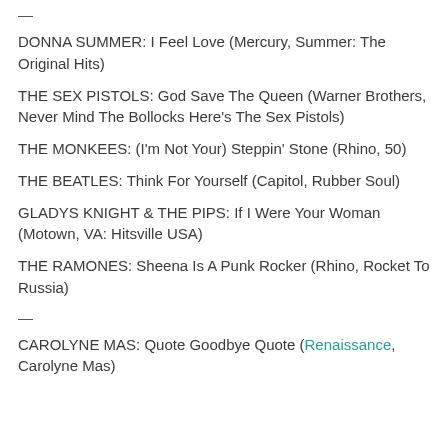—
DONNA SUMMER: I Feel Love (Mercury, Summer: The Original Hits)
THE SEX PISTOLS: God Save The Queen (Warner Brothers, Never Mind The Bollocks Here's The Sex Pistols)
THE MONKEES: (I'm Not Your) Steppin' Stone (Rhino, 50)
THE BEATLES: Think For Yourself (Capitol, Rubber Soul)
GLADYS KNIGHT & THE PIPS: If I Were Your Woman (Motown, VA: Hitsville USA)
THE RAMONES: Sheena Is A Punk Rocker (Rhino, Rocket To Russia)
—
CAROLYNE MAS: Quote Goodbye Quote (Renaissance, Carolyne Mas)